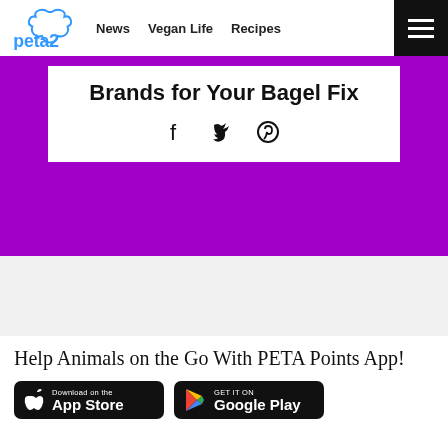peta2 | News | Vegan Life | Recipes
Brands for Your Bagel Fix
[Figure (other): Social share icons: Facebook, Twitter, Pinterest]
[Figure (other): Gray advertisement banner area]
Help Animals on the Go With PETA Points App!
[Figure (other): Download on the App Store button and Get it on Google Play button]